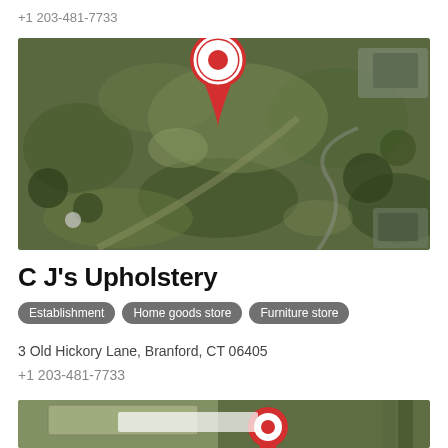+1 203-481-7733
[Figure (map): Satellite/aerial map view with a red location pin marker indicating the business location, showing green fields and some structures from above.]
C J's Upholstery
Establishment
Home goods store
Furniture store
3 Old Hickory Lane, Branford, CT 06405
+1 203-481-7733
[Figure (map): Partial satellite/aerial map view showing a street-level view with buildings and a partially visible red location pin.]